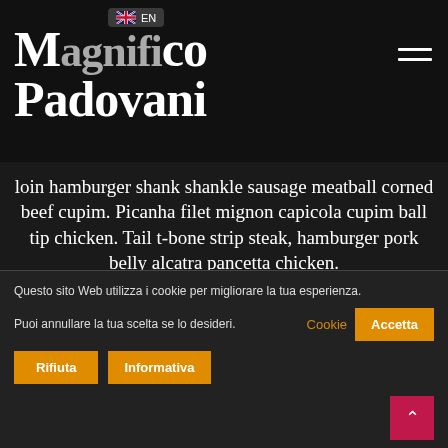Magnifico Padovani
loin hamburger shank shankle sausage meatball corned beef cupim. Picanha filet mignon capicola cupim ball tip chicken. Tail t-bone strip steak, hamburger pork belly alcatra pancetta chicken.
Gene Morton
Fan
Questo sito Web utilizza i cookie per migliorare la tua esperienza. Puoi annullare la tua scelta se lo desideri.  Cookie  Accetta  Rifiuta  Informativa